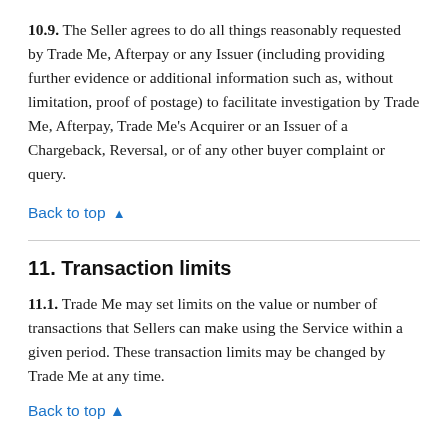10.9. The Seller agrees to do all things reasonably requested by Trade Me, Afterpay or any Issuer (including providing further evidence or additional information such as, without limitation, proof of postage) to facilitate investigation by Trade Me, Afterpay, Trade Me's Acquirer or an Issuer of a Chargeback, Reversal, or of any other buyer complaint or query.
Back to top ▲
11. Transaction limits
11.1. Trade Me may set limits on the value or number of transactions that Sellers can make using the Service within a given period. These transaction limits may be changed by Trade Me at any time.
Back to top ▲